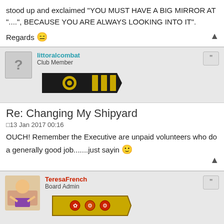stood up and exclaimed "YOU MUST HAVE A BIG MIRROR AT "....", BECAUSE YOU ARE ALWAYS LOOKING INTO IT".
Regards 😑
littoralcombat
Club Member
[Figure (illustration): Military rank badge - black epaulette with gold stripes]
Re: Changing My Shipyard
13 Jan 2017 00:16
OUCH! Remember the Executive are unpaid volunteers who do a generally good job.......just sayin 🙂
TeresaFrench
Board Admin
[Figure (illustration): Military rank badge - gold epaulette with emblems]
Re: Changing My Shipyard
11 Feb 2017 11:08
we are still "looking into it".